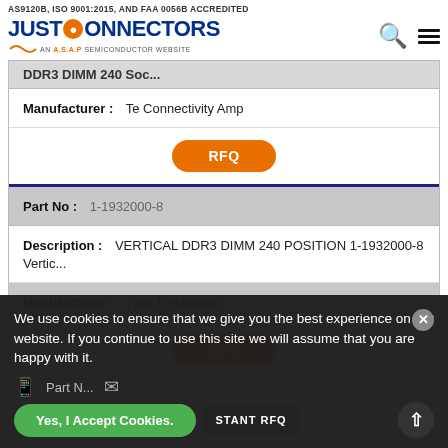AS9120B, ISO 9001:2015, AND FAA 0056B ACCREDITED
[Figure (logo): Just Connectors logo - An A.S.A.P Semiconductor Website, with search and menu icons]
DDR3 DIMM 240 Soc...
| Field | Value |
| --- | --- |
| Manufacturer : | Te Connectivity Amp |
| RFQ |  |
| Part No : | 1-1932000-8 |
| Description : | VERTICAL DDR3 DIMM 240 POSITION 1-1932000-8 Vertic... |
| Manufacturer : | Tyco Electronics |
| RFQ |  |
We use cookies to ensure that we give you the best experience on our website. If you continue to use this site we will assume that you are happy with it.
Yes, I Accept Cookies.
INSTANT RFQ